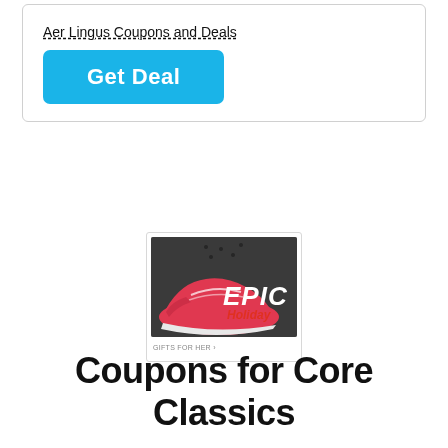Aer Lingus Coupons and Deals
Get Deal
[Figure (illustration): Advertisement banner with red athletic sneakers on dark floor, overlaid with bold white text 'EPIC' and red italic text 'Holiday', with 'GIFTS FOR HER >' link below]
Coupons for Core Classics